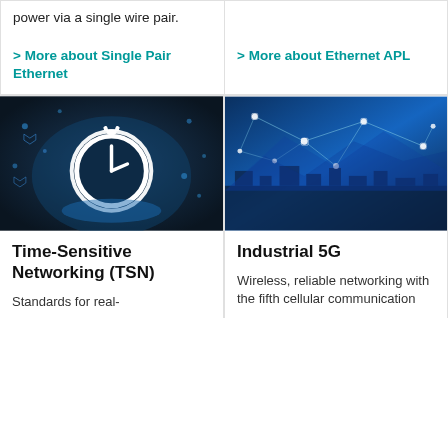power via a single wire pair.
> More about Single Pair Ethernet
> More about Ethernet APL
[Figure (photo): Dark blue tech background with a large white stopwatch/clock icon and digital network icons, representing Time-Sensitive Networking]
Time-Sensitive Networking (TSN)
Standards for real-
[Figure (photo): Aerial blue-tinted city network photo with glowing connected nodes and lines representing Industrial 5G wireless networking]
Industrial 5G
Wireless, reliable networking with the fifth cellular communication